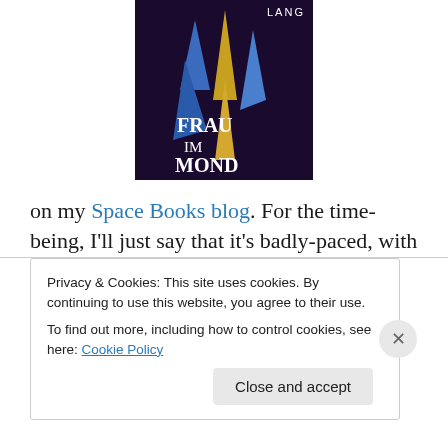[Figure (illustration): Book cover of 'Frau im Mond' directed by Lang, showing stylized blue and gold rockets on a dark purple background.]
on my Space Books blog. For the time-being, I'll just say that it's badly-paced, with far too much silliness up-front and not enough screen-time devoted to the mission to the Moon.
The Objective, Daniel Myrick (2008), is advertised as
Privacy & Cookies: This site uses cookies. By continuing to use this website, you agree to their use.
To find out more, including how to control cookies, see here: Cookie Policy
Close and accept